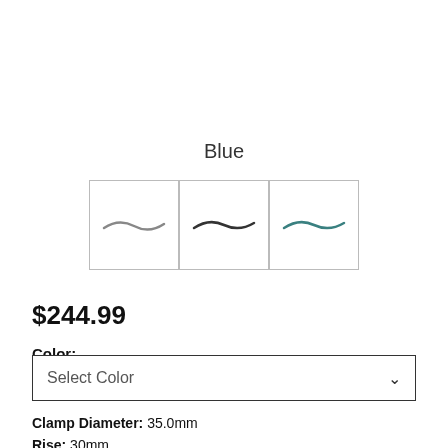Blue
[Figure (photo): Three thumbnail images of bicycle handlebars in different color variants (grey, dark, teal/blue), each shown in a bordered square box]
$244.99
Color:
Select Color
Clamp Diameter: 35.0mm
Rise: 30mm